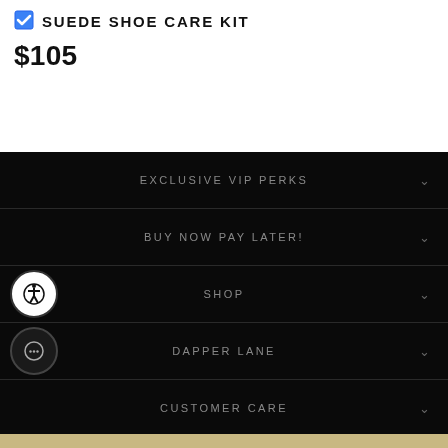SUEDE SHOE CARE KIT
$105
EXCLUSIVE VIP PERKS
BUY NOW PAY LATER!
SHOP
DAPPER LANE
CUSTOMER CARE
ADD TO CART NOW